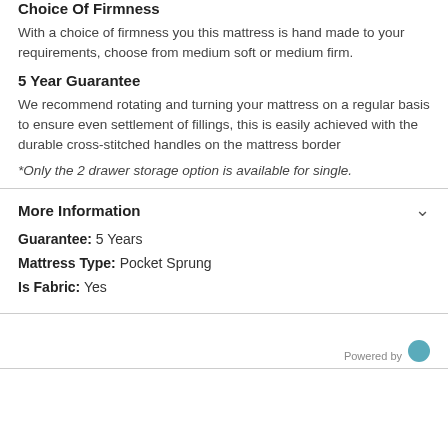Choice Of Firmness
With a choice of firmness you this mattress is hand made to your requirements, choose from medium soft or medium firm.
5 Year Guarantee
We recommend rotating and turning your mattress on a regular basis to ensure even settlement of fillings, this is easily achieved with the durable cross-stitched handles on the mattress border
*Only the 2 drawer storage option is available for single.
More Information
Guarantee:  5 Years
Mattress Type:  Pocket Sprung
Is Fabric:  Yes
Powered by